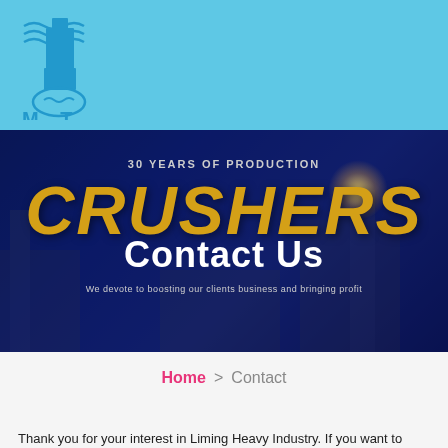[Figure (logo): MT company logo with blue tower/building icon and handshake symbol, letters M T below]
[Figure (photo): Dark navy blue hero banner showing '30 YEARS OF PRODUCTION' text above large golden italic 'CRUSHERS' text, with 'Contact Us' overlaid in white bold text, and tagline 'We devote to boosting our clients business and bringing profit'. Industrial machinery background visible.]
Home > Contact
Thank you for your interest in Liming Heavy Industry. If you want to